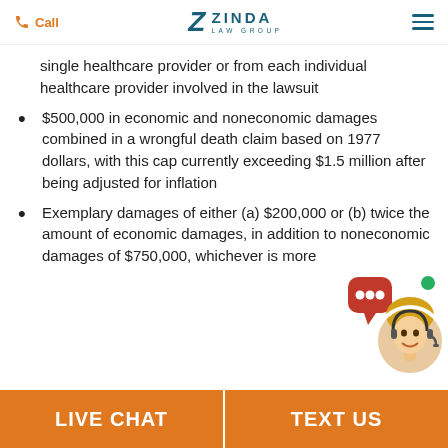Call | ZINDA LAW GROUP
single healthcare provider or from each individual healthcare provider involved in the lawsuit
$500,000 in economic and noneconomic damages combined in a wrongful death claim based on 1977 dollars, with this cap currently exceeding $1.5 million after being adjusted for inflation
Exemplary damages of either (a) $200,000 or (b) twice the amount of economic damages, in addition to noneconomic damages of $750,000, whichever is more
LIVE CHAT | TEXT US